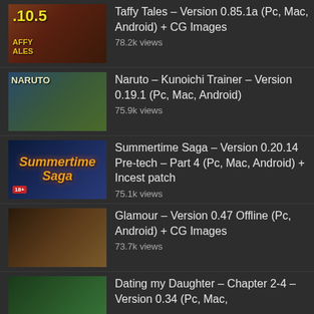Taffy Tales – Version 0.85.1a (Pc, Mac, Android) + CG Images
78.2k views
Naruto – Kunoichi Trainer – Version 0.19.1 (Pc, Mac, Android)
75.9k views
Summertime Saga – Version 0.20.14 Pre-tech – Part 4 (Pc, Mac, Android) + Incest patch
75.1k views
Glamour – Version 0.47 Offline (Pc, Android) + CG Images
73.7k views
Dating my Daughter – Chapter 2-4 – Version 0.34 (Pc, Mac,